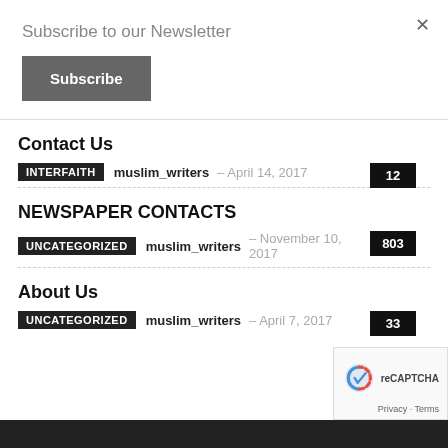×
Subscribe to our Newsletter
Subscribe
Contact Us
INTERFAITH  muslim_writers – April 14, 2017  12
NEWSPAPER CONTACTS
Uncategorized  muslim_writers – November 10, 2017  803
About Us
Uncategorized  muslim_writers – April 7, 2017  33
Privacy · Terms